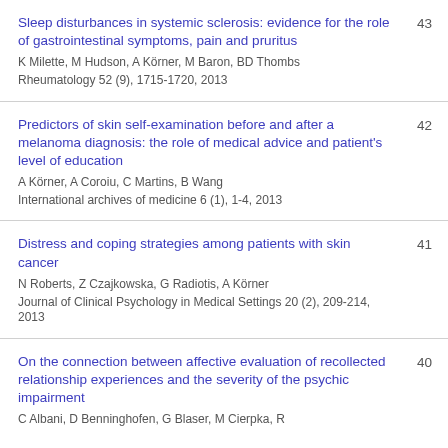Sleep disturbances in systemic sclerosis: evidence for the role of gastrointestinal symptoms, pain and pruritus — K Milette, M Hudson, A Körner, M Baron, BD Thombs — Rheumatology 52 (9), 1715-1720, 2013 — 43
Predictors of skin self-examination before and after a melanoma diagnosis: the role of medical advice and patient's level of education — A Körner, A Coroiu, C Martins, B Wang — International archives of medicine 6 (1), 1-4, 2013 — 42
Distress and coping strategies among patients with skin cancer — N Roberts, Z Czajkowska, G Radiotis, A Körner — Journal of Clinical Psychology in Medical Settings 20 (2), 209-214, 2013 — 41
On the connection between affective evaluation of recollected relationship experiences and the severity of the psychic impairment — C Albani, D Benninghofen, G Blaser, M Cierpka, R — 40